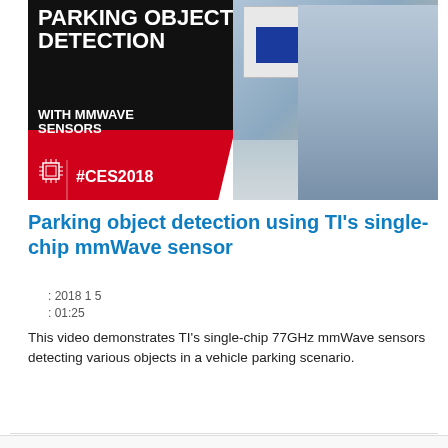[Figure (photo): Video thumbnail showing 'Parking Object Detection with mmWave Sensors' with red and black design, #CES2018 branding, a chip icon, a presenter holding a device, and a parking lot background with a monitor showing a blue detection interface.]
Parking object detection using TI's single-chip mmWave sensor
: 2018 1 5
: 01:25
This video demonstrates TI's single-chip 77GHz mmWave sensors detecting various objects in a vehicle parking scenario.